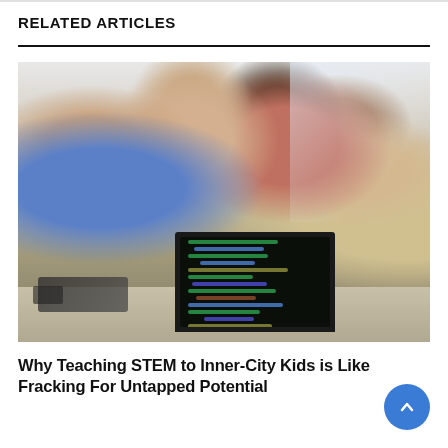RELATED ARTICLES
[Figure (photo): Group of diverse children sitting around a table engaged in a STEM robotics/coding activity, with a laptop showing code in the foreground]
Why Teaching STEM to Inner-City Kids is Like Fracking For Untapped Potential